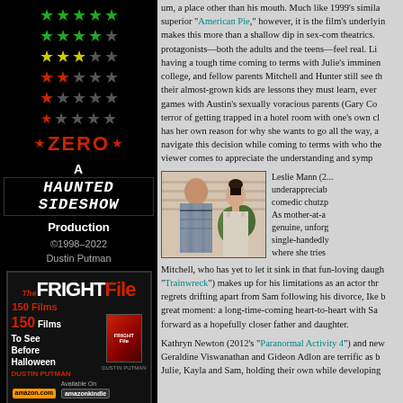[Figure (infographic): Star rating scale from 5 stars (green) down to zero stars (red), with ZERO label in red, followed by 'A Haunted Sideshow Production' branding]
©1998–2022 Dustin Putman
[Figure (illustration): The Fright File book advertisement, 150 Films To See Before Halloween, available on amazon.com and amazonkindle]
um, a place other than his mouth. Much like 1999's similar superior "American Pie," however, it is the film's underlying makes this more than a shallow dip in sex-com theatrics. protagonists—both the adults and the teens—feel real. Li having a tough time coming to terms with Julie's imminen college, and fellow parents Mitchell and Hunter still see th their almost-grown kids are lessons they must learn, ever games with Austin's sexually voracious parents (Gary Co terror of getting trapped in a hotel room with one's own ch has her own reason for why she wants to go all the way, a navigate this decision while coming to terms with who the viewer comes to appreciate the understanding and symp
[Figure (photo): Movie still showing two actors facing each other — a man in a plaid shirt on the left and a young woman with hair up on the right, standing in front of a house exterior]
Leslie Mann (2... underappreciated comedic chutzp As mother-at-a genuine, unforg single-handedly where she tries Mitchell, who has yet to let it sink in that fun-loving daugh "Trainwreck") makes up for his limitations as an actor thr regrets drifting apart from Sam following his divorce, Ike b great moment: a long-time-coming heart-to-heart with Sa forward as a hopefully closer father and daughter.
Kathryn Newton (2012's "Paranormal Activity 4") and new Geraldine Viswanathan and Gideon Adlon are terrific as b Julie, Kayla and Sam, holding their own while developing